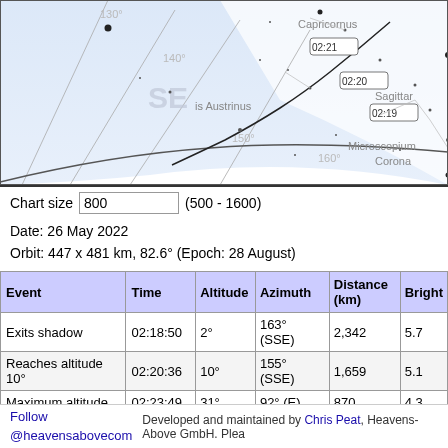[Figure (map): Star chart / sky map showing satellite pass trajectory over constellations including Capricornus, Piscis Austrinus, Microscopium, Sagittarius, Corona. Azimuth lines at 130°, 140°, 150°, 160° visible. Time labels 02:19, 02:20, 02:21 along the satellite path. SE direction label visible. Light blue shaded region indicating horizon/sky. Black dots represent stars.]
Chart size 800 (500 - 1600)
Date: 26 May 2022
Orbit: 447 x 481 km, 82.6° (Epoch: 28 August)
| Event | Time | Altitude | Azimuth | Distance (km) | Bright |
| --- | --- | --- | --- | --- | --- |
| Exits shadow | 02:18:50 | 2° | 163° (SSE) | 2,342 | 5.7 |
| Reaches altitude 10° | 02:20:36 | 10° | 155° (SSE) | 1,659 | 5.1 |
| Maximum altitude | 02:23:49 | 31° | 92° (E) | 870 | 4.3 |
| Drops below altitude 10° | 02:27:03 | 10° | 29° (NNE) | 1,659 | 6.6 |
| Sets | 02:29:17 | 0° | 19° (NNE) | 2,537 | 7.5 |
Follow @heavensabovecom   Developed and maintained by Chris Peat, Heavens-Above GmbH. Plea…